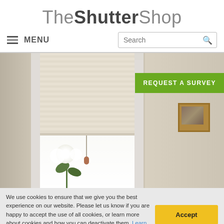TheShutterShop
MENU | Search
[Figure (photo): Interior room photo showing a window with a cream/beige roller blind partially lowered, white window frame, flowers in a vase at the bottom, a framed picture on the right wall, and warm neutral walls. A green 'REQUEST A SURVEY' button overlays the top-right corner.]
We use cookies to ensure that we give you the best experience on our website. Please let us know if you are happy to accept the use of all cookies, or learn more about cookies and how you can deactivate them. Learn more